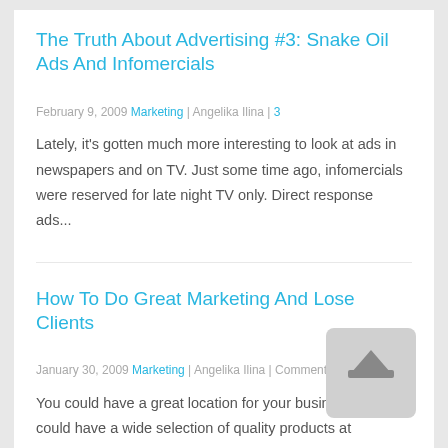The Truth About Advertising #3: Snake Oil Ads And Infomercials
February 9, 2009 Marketing | Angelika Ilina | 3
Lately, it's gotten much more interesting to look at ads in newspapers and on TV. Just some time ago, infomercials were reserved for late night TV only. Direct response ads...
How To Do Great Marketing And Lose Clients
January 30, 2009 Marketing | Angelika Ilina | Comments Off
You could have a great location for your business. You could have a wide selection of quality products at reasonable prices. You could use effective direct response marketing...
The Truth About Advertising #2: It's All About The Headline, Really!